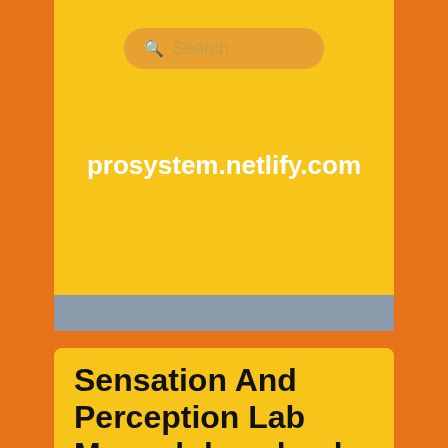[Figure (screenshot): Search box with magnifying glass icon on orange rounded rectangle background]
prosystem.netlify.com
Sensation And Perception Lab Manual download free
Posted on 5/1/2018 by admin
494 Our cheapest price for Sensation and